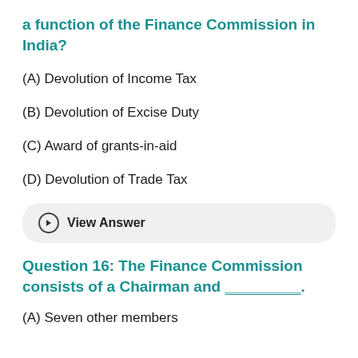a function of the Finance Commission in India?
(A) Devolution of Income Tax
(B) Devolution of Excise Duty
(C) Award of grants-in-aid
(D) Devolution of Trade Tax
View Answer
Question 16: The Finance Commission consists of a Chairman and _________.
(A) Seven other members